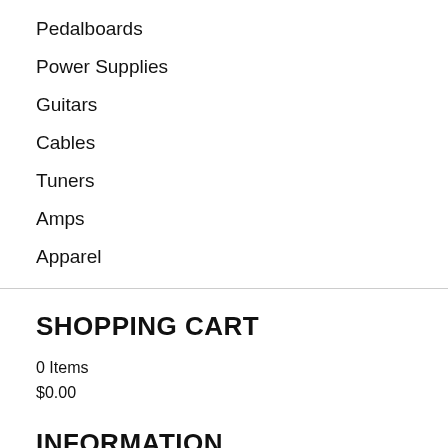Pedalboards
Power Supplies
Guitars
Cables
Tuners
Amps
Apparel
SHOPPING CART
0 Items
$0.00
INFORMATION